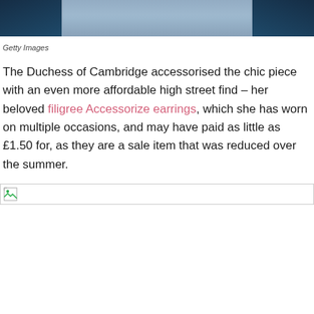[Figure (photo): Cropped photo showing the torso of a person wearing a dark teal/navy blazer with a light blue top or tie visible in the center]
Getty Images
The Duchess of Cambridge accessorised the chic piece with an even more affordable high street find – her beloved filigree Accessorize earrings, which she has worn on multiple occasions, and may have paid as little as £1.50 for, as they are a sale item that was reduced over the summer.
[Figure (photo): Broken/loading image placeholder]